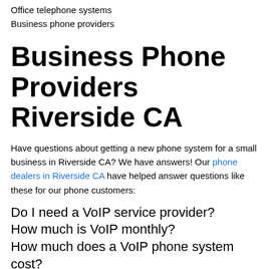Office telephone systems
Business phone providers
Business Phone Providers Riverside CA
Have questions about getting a new phone system for a small business in Riverside CA? We have answers! Our phone dealers in Riverside CA have helped answer questions like these for our phone customers:
Do I need a VoIP service provider?
How much is VoIP monthly?
How much does a VoIP phone system cost?